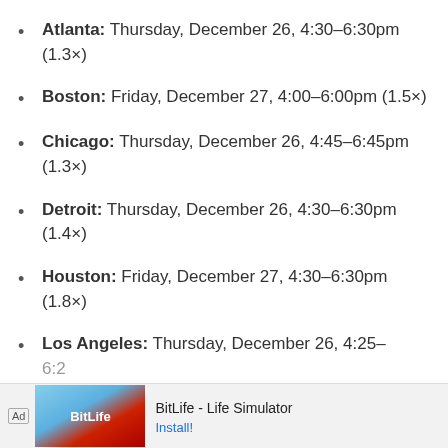Atlanta: Thursday, December 26, 4:30–6:30pm (1.3×)
Boston: Friday, December 27, 4:00–6:00pm (1.5×)
Chicago: Thursday, December 26, 4:45–6:45pm (1.3×)
Detroit: Thursday, December 26, 4:30–6:30pm (1.4×)
Houston: Friday, December 27, 4:30–6:30pm (1.8×)
Los Angeles: Thursday, December 26, 4:25–6:2…
[Figure (screenshot): Advertisement banner: BitLife - Life Simulator app ad with Install button]